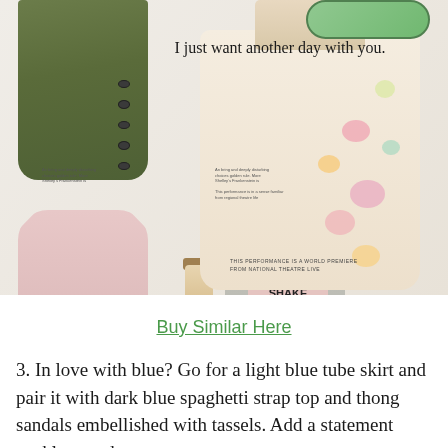[Figure (photo): Fashion collage showing an olive green jacket, pink tank top, a floral embellished cream bomber jacket, a novelty milkshake-shaped bag with 'SHAKE IT' text, makeup compact, lotion tube, green sunglasses, and the text quote 'I just want another day with you.' Small caption text blocks throughout.]
Buy Similar Here
3. In love with blue? Go for a light blue tube skirt and pair it with dark blue spaghetti strap top and thong sandals embellished with tassels. Add a statement necklace and neon